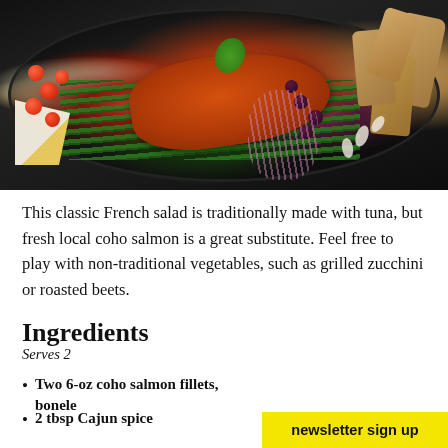[Figure (photo): A dark plate/bowl containing a Niçoise-style salmon salad with a seared coho salmon fillet, green beans, cherry tomatoes, hard-boiled egg wedges, olives, red onion slivers, and potato wedges, garnished with fresh basil.]
This classic French salad is traditionally made with tuna, but fresh local coho salmon is a great substitute. Feel free to play with non-traditional vegetables, such as grilled zucchini or roasted beets.
Ingredients
Serves 2
Two 6-oz coho salmon fillets, bonele…
2 tbsp Cajun spice…
newsletter sign up